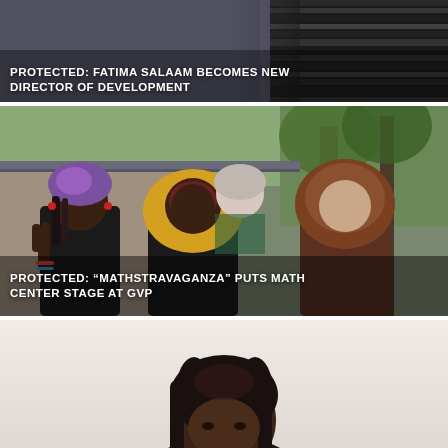[Figure (photo): Top card with abstract textured background showing dark striped pattern on right side]
PROTECTED: FATIMA SALAAM BECOMES NEW DIRECTOR OF DEVELOPMENT
[Figure (photo): Three women posing together outdoors near trees and a building — one with purple headwrap and braids, one with yellow-gold hijab in center, one with grey hair in patterned green dress, one with brown hijab on right]
PROTECTED: "MATHSTRAVAGANZA" PUTS MATH CENTER STAGE AT GVP
[Figure (photo): Woman with dark braided hair against a light pinkish-beige background, partial view showing head and shoulders]